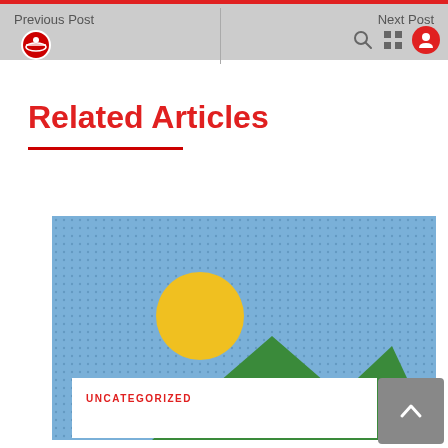Previous Post | Next Post
[Figure (logo): Red circular logo with a car/transport icon]
Related Articles
[Figure (illustration): Placeholder image with blue dotted background, yellow sun circle, and green mountain triangles]
UNCATEGORIZED